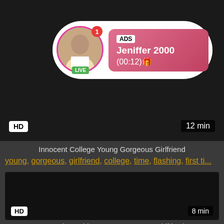[Figure (screenshot): Video thumbnail with HD badge, 12 min duration, and an ad overlay showing a live avatar with name Jeniffer 2000 and timestamp (00:12)]
Innocent College Young Gorgeous Girlfriend
young, gorgeous, girlfriend, college, time, flashing, first ti...
[Figure (screenshot): Dark video thumbnail with HD badge and 8 min duration]
Party Slut Lesbians Young Gorgeous Girlfriend